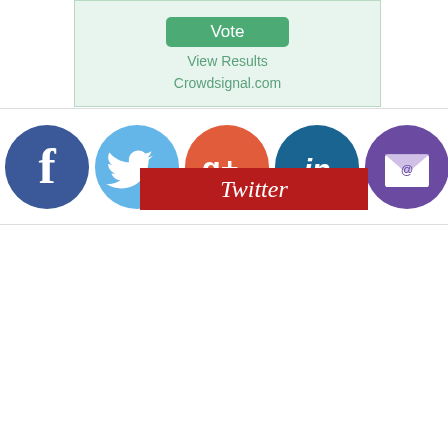[Figure (screenshot): Poll widget with green Vote button, View Results link, and Crowdsignal.com attribution on light green background]
[Figure (infographic): Row of social media icon circles: Facebook (dark blue), Twitter (light blue), Google+ (red-orange), LinkedIn (dark blue), Email/envelope (purple)]
Twitter